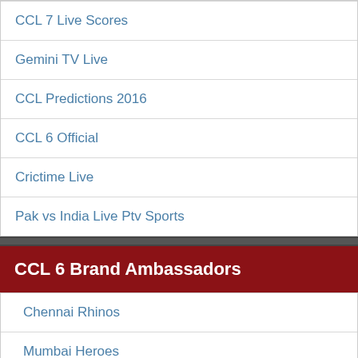CCL 7 Live Scores
Gemini TV Live
CCL Predictions 2016
CCL 6 Official
Crictime Live
Pak vs India Live Ptv Sports
CCL 6 Brand Ambassadors
Chennai Rhinos
Mumbai Heroes
Star Sports
Bengal Tigers
Veer Marathi
Kerala Strikers